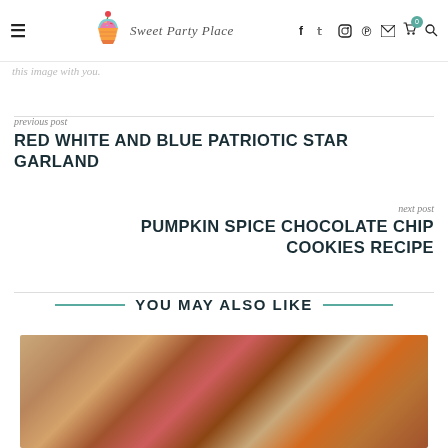Sweet Party Place — navigation bar with logo, hamburger menu, and social/cart icons
this image with you.
previous post
RED WHITE AND BLUE PATRIOTIC STAR GARLAND
next post
PUMPKIN SPICE CHOCOLATE CHIP COOKIES RECIPE
YOU MAY ALSO LIKE
[Figure (photo): Close-up photo of food items, appears to be cookies or pastries with reddish ingredients, blurred/out of focus]